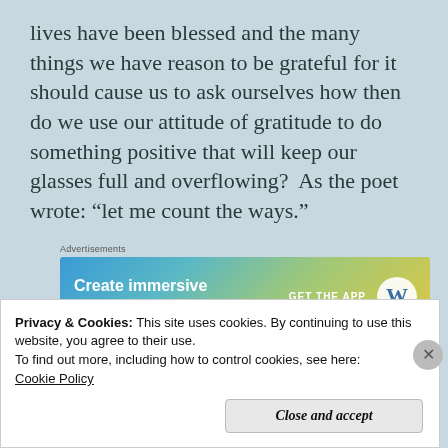lives have been blessed and the many things we have reason to be grateful for it should cause us to ask ourselves how then do we use our attitude of gratitude to do something positive that will keep our glasses full and overflowing?  As the poet wrote: “let me count the ways.”
[Figure (other): Advertisement banner for WordPress app: 'Create immersive stories. GET THE APP' with WordPress logo, gradient background from blue to yellow-green.]
Self... (partially visible text at bottom)
Privacy & Cookies: This site uses cookies. By continuing to use this website, you agree to their use.
To find out more, including how to control cookies, see here: Cookie Policy